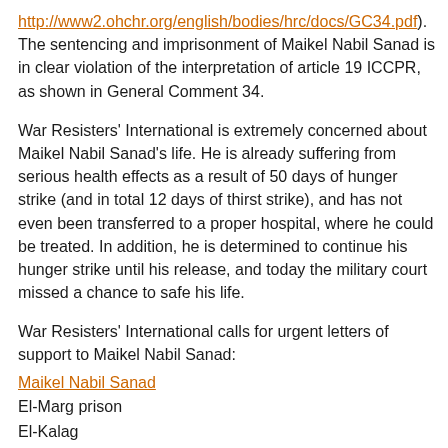http://www2.ohchr.org/english/bodies/hrc/docs/GC34.pdf). The sentencing and imprisonment of Maikel Nabil Sanad is in clear violation of the interpretation of article 19 ICCPR, as shown in General Comment 34.
War Resisters' International is extremely concerned about Maikel Nabil Sanad's life. He is already suffering from serious health effects as a result of 50 days of hunger strike (and in total 12 days of thirst strike), and has not even been transferred to a proper hospital, where he could be treated. In addition, he is determined to continue his hunger strike until his release, and today the military court missed a chance to safe his life.
War Resisters' International calls for urgent letters of support to Maikel Nabil Sanad:
Maikel Nabil Sanad
El-Marg prison
El-Kalag
El-Khanka
Qalyubeya